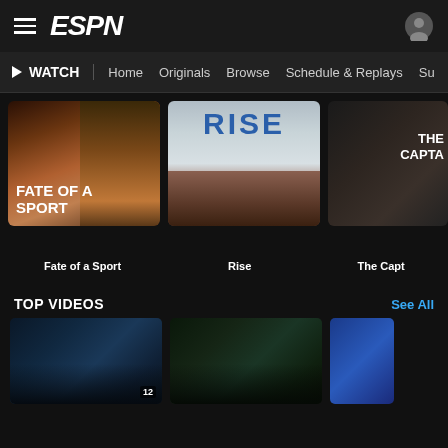ESPN — hamburger menu, ESPN logo, user icon
▶ WATCH | Home | Originals | Browse | Schedule & Replays | Su...
[Figure (screenshot): ESPN+ Originals carousel showing three show cards: 'Fate of a Sport', 'Rise', 'The Capt...' (The Captain, partially visible)]
Fate of a Sport
Rise
The Capt...
TOP VIDEOS
See All
[Figure (screenshot): Three video thumbnails at bottom: basketball game, baseball game (Yankees), and a partially visible blue thumbnail]